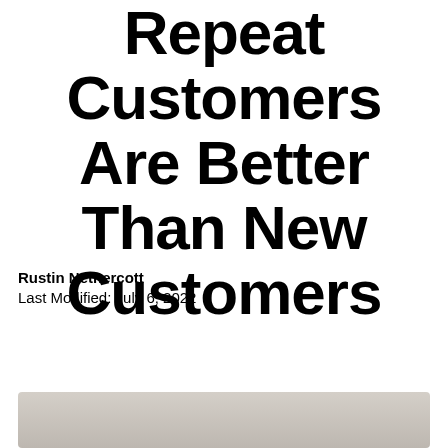Repeat Customers Are Better Than New Customers
Rustin Nethercott
Last Modified: July 6, 2022
6 min read
[Figure (other): Social sharing buttons: Facebook, Twitter, LinkedIn, Pinterest, Share]
[Figure (photo): Partial photo of a person at a desk, cropped at bottom of page]